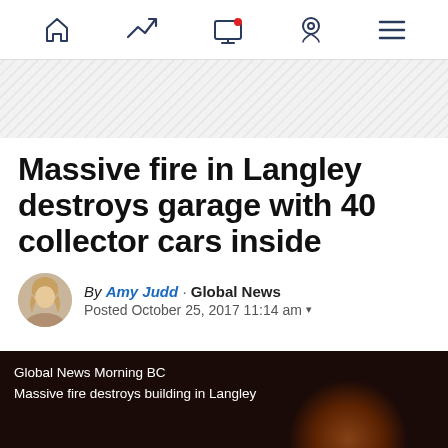Navigation bar with home, trending, screen, location, and menu icons
[Figure (other): Gray diagonal hatched advertisement/placeholder area]
Massive fire in Langley destroys garage with 40 collector cars inside
By Amy Judd · Global News
Posted October 25, 2017 11:14 am
[Figure (screenshot): Video thumbnail showing dark background with fire glow and text overlay: Global News Morning BC / Massive fire destroys building in Langley]